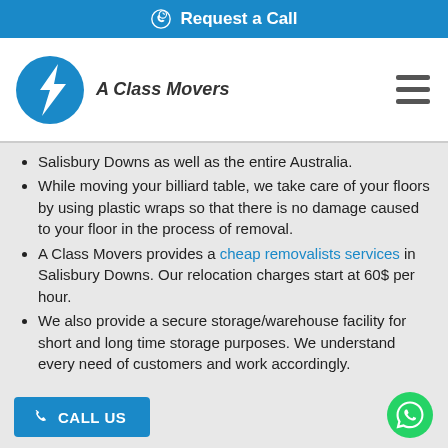Request a Call
[Figure (logo): A Class Movers logo with blue circle containing a stylized waveform/arrow graphic, text 'A Class Movers' in italic bold]
Salisbury Downs as well as the entire Australia.
While moving your billiard table, we take care of your floors by using plastic wraps so that there is no damage caused to your floor in the process of removal.
A Class Movers provides a cheap removalists services in Salisbury Downs. Our relocation charges start at 60$ per hour.
We also provide a secure storage/warehouse facility for short and long time storage purposes. We understand every need of customers and work accordingly.